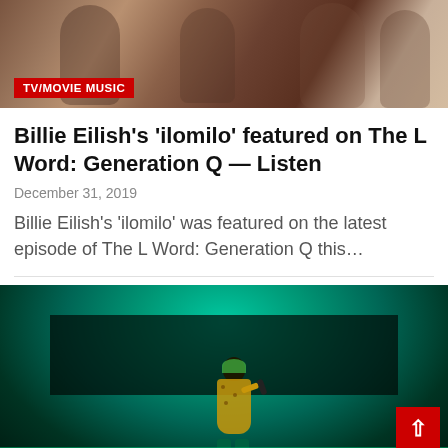[Figure (photo): Group photo of people in casual/brown outfits with a red TV/Movie Music badge overlay in the bottom left]
Billie Eilish's ‘ilomilo’ featured on The L Word: Generation Q — Listen
December 31, 2019
Billie Eilish’s ‘ilomilo’ was featured on the latest episode of The L Word: Generation Q this…
[Figure (photo): Billie Eilish performing on stage with green teal lighting, wearing a yellow patterned outfit, holding a microphone]